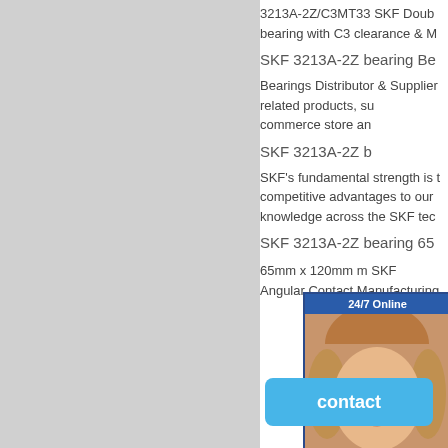3213A-2Z/C3MT33 SKF Double bearing with C3 clearance & M
SKF 3213A-2Z bearing Be
Bearings Distributor & Supplier related products, su commerce store an
SKF 3213A-2Z b
SKF's fundamental strength is competitive advantages to our knowledge across the SKF tec
SKF 3213A-2Z bearing 65
65mm x 120mm m SKF Angular Contact Manufacturing